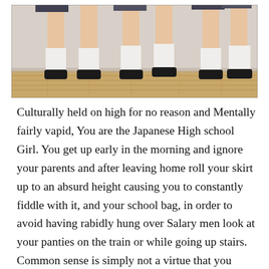[Figure (photo): Photo showing the lower legs and feet of what appear to be Japanese high school girls wearing white loose socks and black loafers, standing on a wooden floor.]
Culturally held on high for no reason and Mentally fairly vapid, You are the Japanese High school Girl. You get up early in the morning and ignore your parents and after leaving home roll your skirt up to an absurd height causing you to constantly fiddle with it, and your school bag, in order to avoid having rabidly hung over Salary men look at your panties on the train or while going up stairs. Common sense is simply not a virtue that you possess. Your conversations with friends are centered around two primary things 1: Teachers you hate and 2: Boys you think are cool. The Possible third topic being